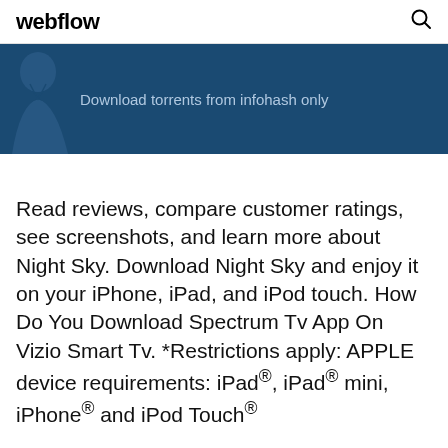webflow
[Figure (screenshot): Dark blue banner with a silhouette figure on the left and text reading 'Download torrents from infohash only']
Read reviews, compare customer ratings, see screenshots, and learn more about Night Sky. Download Night Sky and enjoy it on your iPhone, iPad, and iPod touch. How Do You Download Spectrum Tv App On Vizio Smart Tv. *Restrictions apply: APPLE device requirements: iPad®, iPad® mini, iPhone® and iPod Touch®